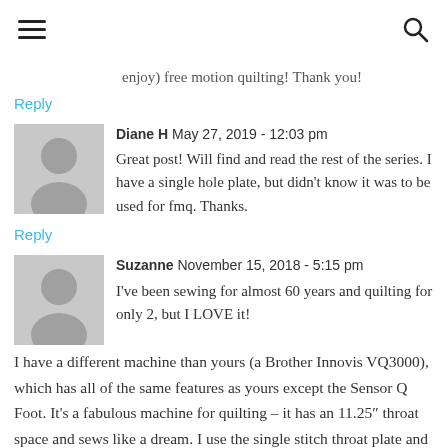Navigation header with hamburger menu and search icon
enjoy) free motion quilting! Thank you!
Reply
Diane H May 27, 2019 - 12:03 pm
Great post! Will find and read the rest of the series. I have a single hole plate, but didn't know it was to be used for fmq. Thanks.
Reply
Suzanne November 15, 2018 - 5:15 pm
I've been sewing for almost 60 years and quilting for only 2, but I LOVE it!
I have a different machine than yours (a Brother Innovis VQ3000), which has all of the same features as yours except the Sensor Q Foot. It's a fabulous machine for quilting – it has an 11.25″ throat space and sews like a dream. I use the single stitch throat plate and was trying out almost every FMQ foot that came with the machine but remained frustrated with my results UNTIL I saw a posting on Pinterest